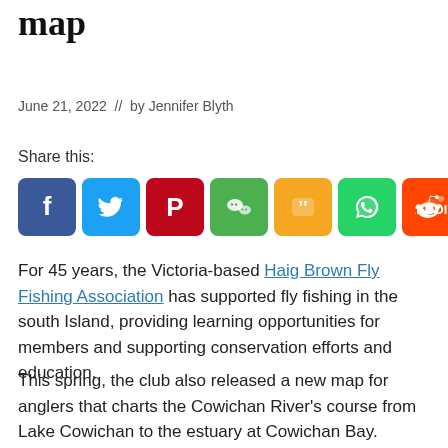map
June 21, 2022 // by Jennifer Blyth
Share this:
[Figure (other): Social media sharing icons: Facebook, Twitter, Pinterest, WeChat, Quote, WhatsApp, Reddit, More]
For 45 years, the Victoria-based Haig Brown Fly Fishing Association has supported fly fishing in the south Island, providing learning opportunities for members and supporting conservation efforts and education.
This spring, the club also released a new map for anglers that charts the Cowichan River's course from Lake Cowichan to the estuary at Cowichan Bay. Among the highlights are trails and access